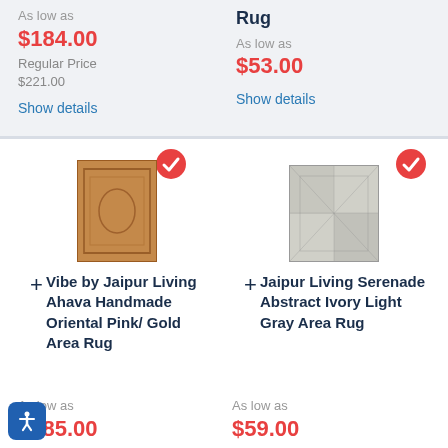As low as $184.00
Regular Price $221.00
Show details
Rug
As low as $53.00
Show details
[Figure (photo): Orange/brown oriental area rug with red checkmark badge overlay]
+ Vibe by Jaipur Living Ahava Handmade Oriental Pink/Gold Area Rug
As low as $485.00
Show details
[Figure (photo): Gray/ivory abstract area rug with red checkmark badge overlay]
+ Jaipur Living Serenade Abstract Ivory Light Gray Area Rug
As low as $59.00
Regular Price